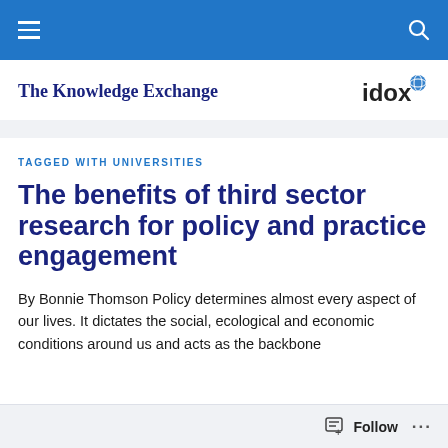Navigation bar with hamburger menu and search icon
The Knowledge Exchange
TAGGED WITH UNIVERSITIES
The benefits of third sector research for policy and practice engagement
By Bonnie Thomson Policy determines almost every aspect of our lives. It dictates the social, ecological and economic conditions around us and acts as the backbone